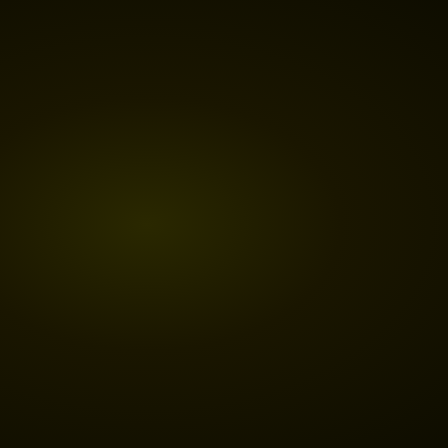| Level Name | Score | Stars |
| --- | --- | --- |
| Mayhem |  |  |
| Easy 5: Fiery Justice | 145 | 0 |
| Easy 6: Bumpy Road | 285 | 0 |
| Easy 7: The Grill Fantasy | 752 | 0 |
| Easy 8: Where's the Ground | 215 | 0 |
| Easy 9: Ups and Downs | 167 | 0 |
| Easy 10: Watch Your Landing | 182 | 0 |
| Easy 11: Easy Beasy | 439 | 0 |
| Medium 1: Too many tires | 402 | 0 |
| Medium 2: Big Jumps | 558 | 0 |
| Medium 3: A Long Journey | 240 | 0 |
| Medium 4: Boulderdash | 166 | 0 |
| Medium 5: Pipedreams | 96 | 0 |
| Medium 6: I Want Squirrels! | 201 | 0 |
| Medium 7: Under Construction | 264 | 0 |